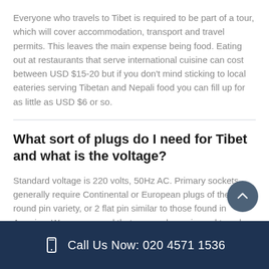Everyone who travels to Tibet is required to be part of a tour, which will cover accommodation, transport and travel permits. This leaves the main expense being food. Eating out at restaurants that serve international cuisine can cost between USD $15-20 but if you don't mind sticking to local eateries serving Tibetan and Nepali food you can fill up for as little as USD $6 or so.
What sort of plugs do I need for Tibet and what is the voltage?
Standard voltage is 220 volts, 50Hz AC. Primary sockets generally require Continental or European plugs of the two round pin variety, or 2 flat pin similar to those found in America. We recommend that you pack a universal travel adaptor. You will need a voltage converter and plug adaptor in order to use U.S. appliances.
Call Us Now: 020 4571 1536